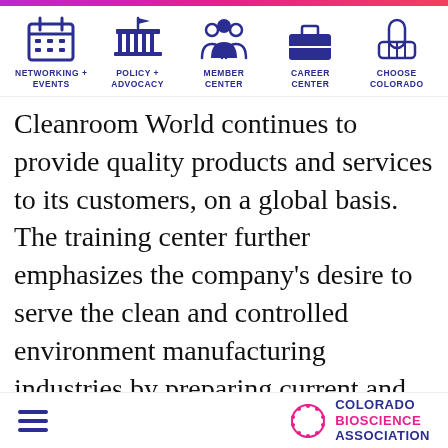[Figure (infographic): Navigation bar with 5 icons: Networking + Events (calendar icon), Policy + Advocacy (government building icon), Member Center (people icon), Career Center (briefcase icon), Choose Colorado (pointing hand icon)]
Cleanroom World continues to provide quality products and services to its customers, on a global basis. The training center further emphasizes the company's desire to serve the clean and controlled environment manufacturing industries by preparing current and future controlled environment personnel with technical skills, knowledge and experience, enabling
[Figure (logo): Colorado Bioscience Association logo with hamburger menu on the left]